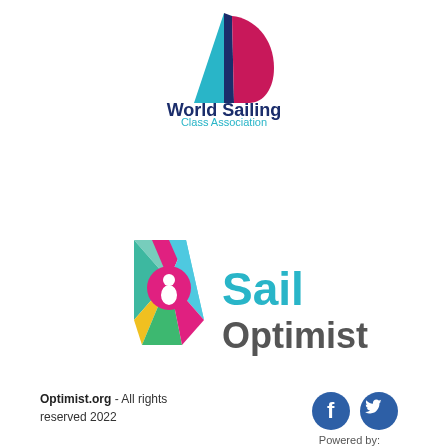[Figure (logo): World Sailing Class Association logo with colorful sail graphic (teal, dark blue, magenta) above text 'World Sailing Class Association']
[Figure (logo): Sail Optimist logo with colorful geometric sail/rhombus shape and magenta circle with white figure, beside 'Sail Optimist' text in blue and dark grey]
Optimist.org - All rights reserved 2022
[Figure (illustration): Facebook and Twitter social media icons (dark blue circles with white f and bird icons)]
Powered by: